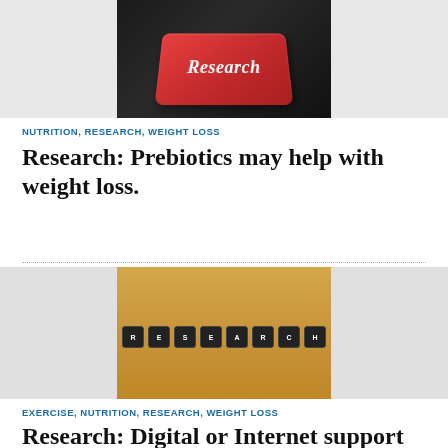[Figure (photo): Red keyboard key labeled 'Research' on a dark keyboard background]
NUTRITION, RESEARCH, WEIGHT LOSS
Research: Prebiotics may help with weight loss.
[Figure (photo): Keyboard keys spelling out RESEARCH arranged on a wooden surface]
EXERCISE, NUTRITION, RESEARCH, WEIGHT LOSS
Research: Digital or Internet support can assist with weight loss